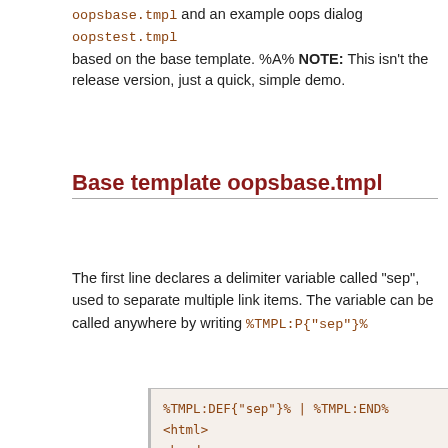oopsbase.tmpl and an example oops dialog oopstest.tmpl based on the base template. %A% NOTE: This isn't the release version, just a quick, simple demo.
Base template oopsbase.tmpl
The first line declares a delimiter variable called "sep", used to separate multiple link items. The variable can be called anywhere by writing %TMPL:P{"sep"}%
[Figure (screenshot): Code block showing template HTML content including %TMPL:DEF{"sep"}% | %TMPL:END%, <html>, <head>, <title>, <base href>, <meta name="robots" content="noindex">, </head>, <body bgcolor="#FFFFFF">, <table width="100%" border="0" cellpadding="3" cellsp..., <tr>, <td bgcolor="%WEBBGCOLOR%" rowspan="2" valign="to...]